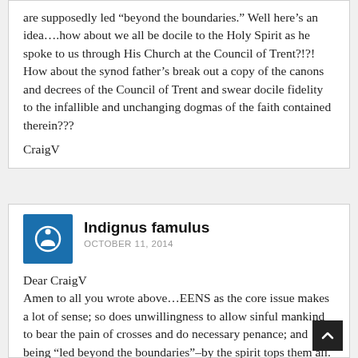are supposedly led “beyond the boundaries.” Well here’s an idea….how about we all be docile to the Holy Spirit as he spoke to us through His Church at the Council of Trent?!?! How about the synod father’s break out a copy of the canons and decrees of the Council of Trent and swear docile fidelity to the infallible and unchanging dogmas of the faith contained therein???
CraigV
Indignus famulus
OCTOBER 11, 2014
Dear CraigV
Amen to all you wrote above…EENS as the core issue makes a lot of sense; so does unwillingness to allow sinful mankind to bear the pain of crosses and do necessary penance; and being “led beyond the boundaries”–by the spirit tops them all. Which spirit is